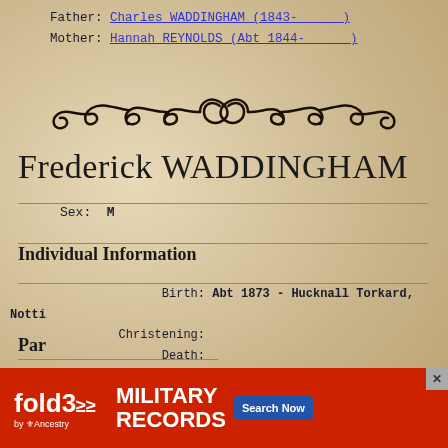Father: Charles WADDINGHAM (1843-      )
Mother: Hannah REYNOLDS (Abt 1844-      )
[Figure (illustration): Decorative ornamental scroll divider in black ink]
Frederick WADDINGHAM
Sex: M
Individual Information
Birth:  Abt 1873 - Hucknall Torkard, Notti
Christening:
Death:
Burial:
Cause of Death:
AFN #:
Par
[Figure (screenshot): Fold3 by Ancestry advertisement banner for Military Records with Search Now button]